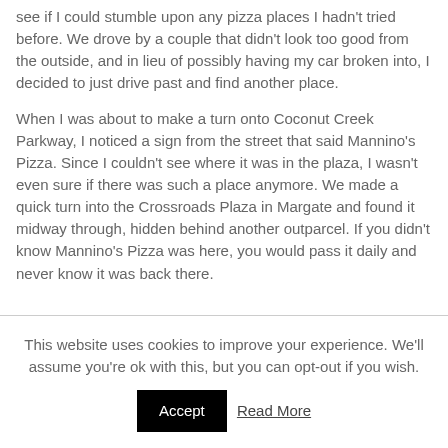see if I could stumble upon any pizza places I hadn't tried before. We drove by a couple that didn't look too good from the outside, and in lieu of possibly having my car broken into, I decided to just drive past and find another place.
When I was about to make a turn onto Coconut Creek Parkway, I noticed a sign from the street that said Mannino's Pizza. Since I couldn't see where it was in the plaza, I wasn't even sure if there was such a place anymore. We made a quick turn into the Crossroads Plaza in Margate and found it midway through, hidden behind another outparcel. If you didn't know Mannino's Pizza was here, you would pass it daily and never know it was back there.
This website uses cookies to improve your experience. We'll assume you're ok with this, but you can opt-out if you wish.